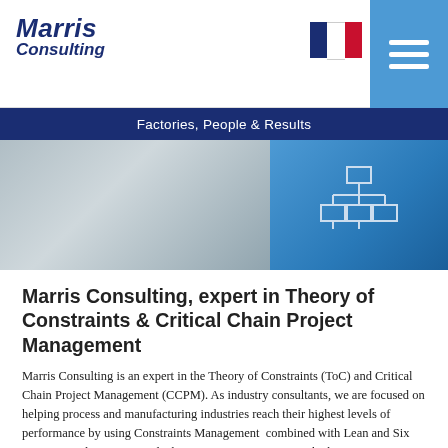Marris Consulting
[Figure (logo): French flag and hamburger menu icon in blue box]
Factories, People & Results
[Figure (photo): Hero banner with grey and blue panels, organizational chart icon on right side]
Marris Consulting, expert in Theory of Constraints & Critical Chain Project Management
Marris Consulting is an expert in the Theory of Constraints (ToC) and Critical Chain Project Management (CCPM). As industry consultants, we are focused on helping process and manufacturing industries reach their highest levels of performance by using Constraints Management combined with Lean and Six Sigma. We also use Critical Chain Project Management which we sometimes combine with Lean engineering to improve project performance. If you are unsure about the actions which need to be implemented to improve operational efficiency, our industrial management consultants can also conduct a performance audit. Furthermore, our experts host numerous Theory of Constraints (ToC), lean and project management training sessions throughout the year.